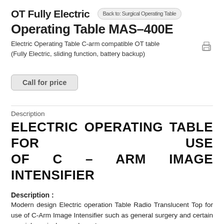OT Fully Electric Operating Table MAS–400E
Electric Operating Table C-arm compatible OT table (Fully Electric, sliding function, battery backup)
Call for price
Description
ELECTRIC OPERATING TABLE FOR USE OF C – ARM IMAGE INTENSIFIER
Description :
Modern design Electric operation Table Radio Translucent Top for use of C-Arm Image Intensifier such as general surgery and certain special surgical procedure etc.